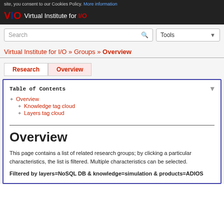site, you consent to our Cookies Policy. More information
[Figure (logo): VIO Virtual Institute for I/O logo with red and blue letters on dark background]
[Figure (screenshot): Search bar with magnifying glass icon and Tools dropdown]
Virtual Institute for I/O » Groups » Overview
Research | Overview (tabs)
Table of Contents
Overview
Knowledge tag cloud
Layers tag cloud
Overview
This page contains a list of related research groups; by clicking a particular characteristics, the list is filtered. Multiple characteristics can be selected.
Filtered by layers=NoSQL DB & knowledge=simulation & products=ADIOS